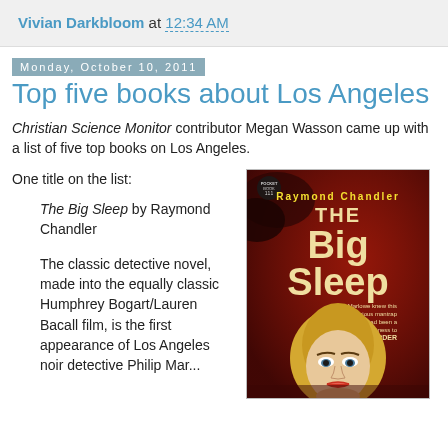Vivian Darkbloom at 12:34 AM
Monday, October 10, 2011
Top five books about Los Angeles
Christian Science Monitor contributor Megan Wasson came up with a list of five top books on Los Angeles.
One title on the list:
The Big Sleep by Raymond Chandler
The classic detective novel, made into the equally classic Humphrey Bogart/Lauren Bacall film, is the first appearance of Los Angeles noir detective Philip Mar...
[Figure (photo): Book cover of The Big Sleep by Raymond Chandler, showing a vintage pulp paperback cover with red/dark background, the author's name in yellow, and a woman's face in the foreground.]